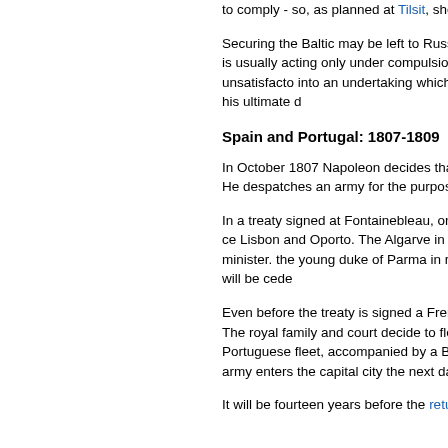to comply - so, as planned at Tilsit, she is to be invaded (February 1808).
Securing the Baltic may be left to Russia, but the Atlantic coast is clearly France's own responsibility. Spain is an uncertain ally, usually acting only under compulsion. Portugal is even less reliable, with a soft spot for Britain. This unsatisfactory situation lures Napoleon into an undertaking which harms his cause in Spain and eventually becomes one of the factors in his ultimate defeat.
Spain and Portugal: 1807-1809
In October 1807 Napoleon decides that the best method of securing the Continental System is a French takeover of Portugal. He despatches an army for the purpose and agrees terms with Spain to Fontainebleau.
In a treaty signed at Fontainebleau, on October 27, the partition of Portugal is agreed. France is to have the central section including Lisbon and Oporto. The Algarve in the south will go to Godoy, the Spanish king's unscrupulous chief minister. The north will go to the young duke of Parma in return for his vast Italian domain (in plain terms Tuscany), which will be ceded to France.
Even before the treaty is signed a French army is already on its way to Portugal - where its imminent arrival causes consternation. The royal family and court decide to flee for Brazil, taking with them (to Napoleon's fury) the gold and silver of the treasury. The Portuguese fleet, accompanied by a British naval squadron, leaves the mouth of the Tagus on 29 November 1807. The French occupying army enters the capital city the next day.
It will be fourteen years before the return to